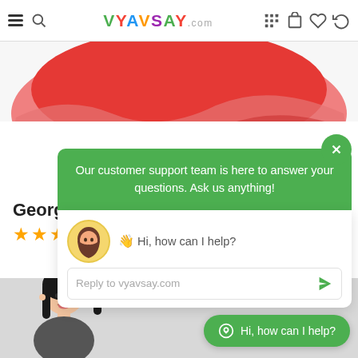[Figure (screenshot): VYAVSAY.com e-commerce website header with hamburger menu, search icon, colorful logo, grid icon, cart, heart, and refresh icons]
[Figure (photo): Bottom portion of a red/pink Georgette Long Dress worn by a person, showing feet in brown sandals on a white background]
Georgette Long D...
★★★★★
[Figure (screenshot): Customer support chat popup overlay with green header box saying 'Our customer support team is here to answer your questions. Ask us anything!', a chat avatar of a woman with message 'Hi, how can I help?', a reply text field 'Reply to vyavsay.com' with a send arrow, and a green WhatsApp-style floating button 'Hi, how can I help?']